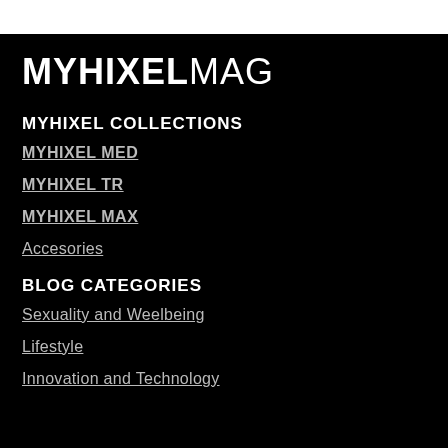MYHIXELMAG
MYHIXEL COLLECTIONS
MYHIXEL MED
MYHIXEL TR
MYHIXEL MAX
Accesories
BLOG CATEGORIES
Sexuality and Weelbeing
Lifestyle
Innovation and Technology